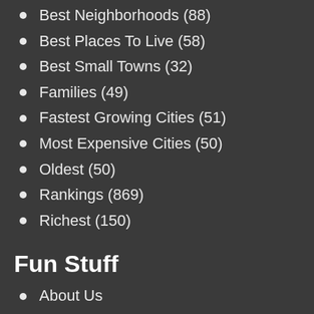Best Neighborhoods (88)
Best Places To Live (58)
Best Small Towns (32)
Families (49)
Fastest Growing Cities (51)
Most Expensive Cities (50)
Oldest (50)
Rankings (869)
Richest (150)
Fun Stuff
About Us
Advertise with us
Contribute
Privacy Policy
Terms of Use